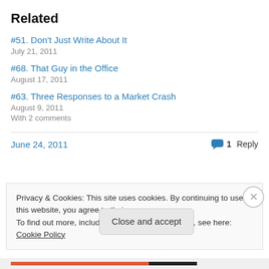Related
#51. Don't Just Write About It
July 21, 2011
#68. That Guy in the Office
August 17, 2011
#63. Three Responses to a Market Crash
August 9, 2011
With 2 comments
June 24, 2011    1 Reply
Privacy & Cookies: This site uses cookies. By continuing to use this website, you agree to their use.
To find out more, including how to control cookies, see here: Cookie Policy
Close and accept